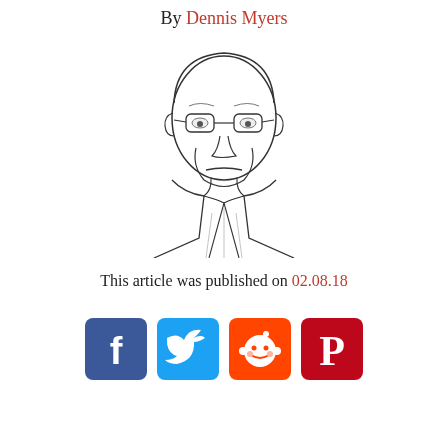By Dennis Myers
[Figure (illustration): Line drawing portrait of a middle-aged man with glasses, wearing a collared shirt, looking straight ahead with a serious expression]
This article was published on 02.08.18
[Figure (infographic): Social media share buttons: Facebook (blue), Twitter (light blue), Reddit (orange), Pinterest (red)]